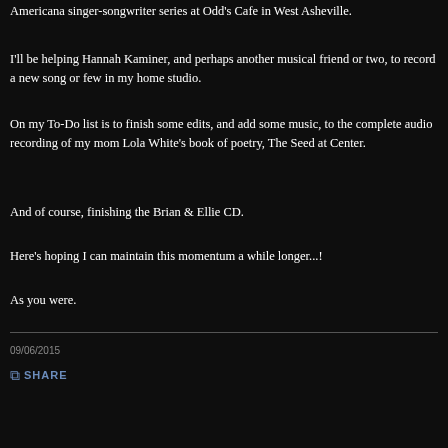Americana singer-songwriter series at Odd's Cafe in West Asheville.
I'll be helping Hannah Kaminer, and perhaps another musical friend or two, to record a new song or few in my home studio.
On my To-Do list is to finish some edits, and add some music, to the complete audio recording of my mom Lola White's book of poetry, The Seed at Center.
And of course, finishing the Brian & Ellie CD.
Here's hoping I can maintain this momentum a while longer...!
As you were.
09/06/2015
SHARE